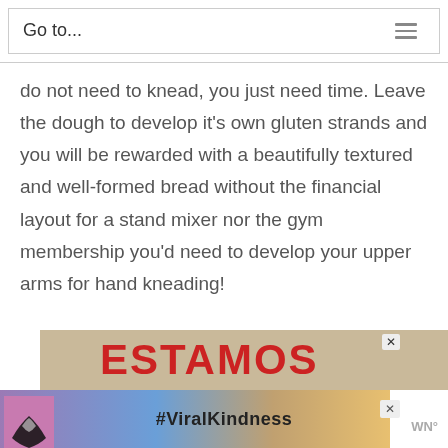Go to...
do not need to knead, you just need time. Leave the dough to develop it’s own gluten strands and you will be rewarded with a beautifully textured and well-formed bread without the financial layout for a stand mixer nor the gym membership you’d need to develop your upper arms for hand kneading!
[Figure (photo): Advertisement banner showing 'ESTAMOS' text in red on tan background, with a close button (X). Below it, another ad showing a heart-hands silhouette against a colorful sky with '#ViralKindness' text and a small logo.]